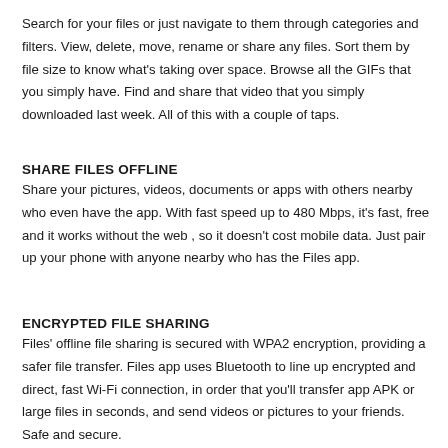Search for your files or just navigate to them through categories and filters. View, delete, move, rename or share any files. Sort them by file size to know what's taking over space. Browse all the GIFs that you simply have. Find and share that video that you simply downloaded last week. All of this with a couple of taps.
SHARE FILES OFFLINE
Share your pictures, videos, documents or apps with others nearby who even have the app. With fast speed up to 480 Mbps, it's fast, free and it works without the web , so it doesn't cost mobile data. Just pair up your phone with anyone nearby who has the Files app.
ENCRYPTED FILE SHARING
Files' offline file sharing is secured with WPA2 encryption, providing a safer file transfer. Files app uses Bluetooth to line up encrypted and direct, fast Wi-Fi connection, in order that you'll transfer app APK or large files in seconds, and send videos or pictures to your friends. Safe and secure.